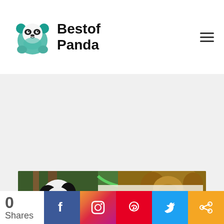[Figure (logo): Best of Panda logo with panda icon and bold text reading 'Bestof Panda']
[Figure (photo): Banner image showing a giant panda in a tree on the left and a brown bear on the right, with bold text overlay reading 'CAN GIANT PANDAS']
0 Shares
[Figure (infographic): Social share bar with Facebook, Instagram, Pinterest, Twitter, and share icons]